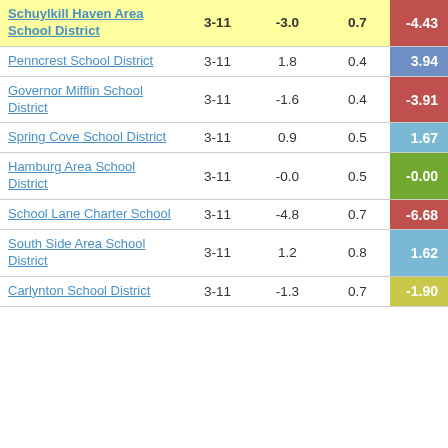| School District | Grades | Change | StdErr | Score |
| --- | --- | --- | --- | --- |
| Schuylkill Haven Area School District | 3-11 | -3.0 | 0.7 | -4.43 |
| Penncrest School District | 3-11 | 1.8 | 0.4 | 3.94 |
| Governor Mifflin School District | 3-11 | -1.6 | 0.4 | -3.91 |
| Spring Cove School District | 3-11 | 0.9 | 0.5 | 1.67 |
| Hamburg Area School District | 3-11 | -0.0 | 0.5 | -0.00 |
| School Lane Charter School | 3-11 | -4.8 | 0.7 | -6.68 |
| South Side Area School District | 3-11 | 1.2 | 0.8 | 1.62 |
| Carlynton School District | 3-11 | -1.3 | 0.7 | -1.90 |